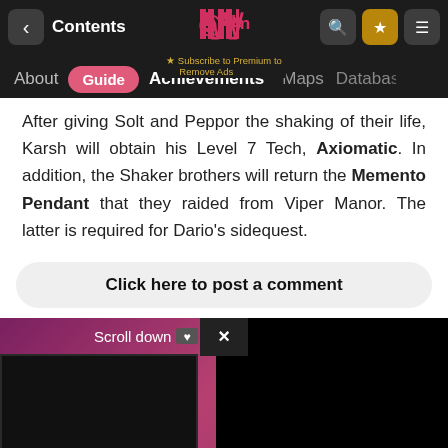< Contents   [logo]   [search] [star] [menu]
About  Guide  Achievements  Maps  Database
After giving Solt and Peppor the shaking of their life, Karsh will obtain his Level 7 Tech, Axiomatic. In addition, the Shaker brothers will return the Memento Pendant that they raided from Viper Manor. The latter is required for Dario's sidequest.
Click here to post a comment
Scroll down ❯ to continue reading
[Figure (screenshot): Advertisement overlay with close button (×) and black ad content area over a purple/pink gradient background]